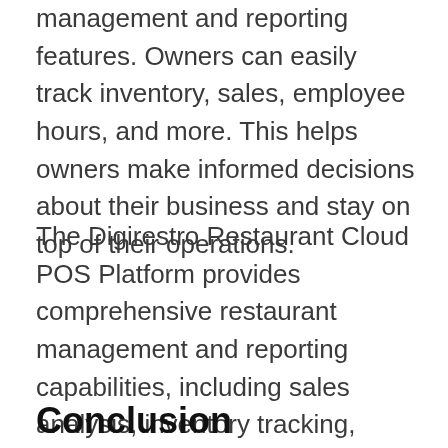Platform provides robust restaurant management and reporting features. Owners can easily track inventory, sales, employee hours, and more. This helps owners make informed decisions about their business and stay on top of their operations.
The Digirestro Restaurant Cloud POS Platform provides comprehensive restaurant management and reporting capabilities, including sales analysis, inventory tracking, employee scheduling, and more.
Conclusion